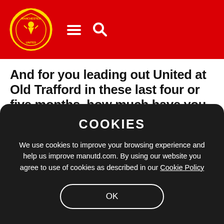Manchester United header navigation bar with logo, hamburger menu and search icon
And for you leading out United at Old Trafford in these last four or five months, how much have you enjoyed managing United here?
“In most of the games, I enjoyed it but obviously we had some games where we were just 1-0 up and gave away too many points. In those moments, it’s not so enjoyable but overall the
COOKIES
We use cookies to improve your browsing experience and help us improve manutd.com. By using our website you agree to use of cookies as described in our Cookie Policy
OK